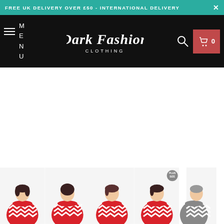FREE UK DELIVERY OVER £50 - INTERNATIONAL DELIVERY
[Figure (logo): Dark Fashion Clothing logo in gothic/blackletter font on black nav bar]
[Figure (photo): Five product thumbnail photos of women wearing red and white chevron/zigzag knit sweaters, shown at bottom of page]
[Figure (photo): Plus size badge on fourth product image]